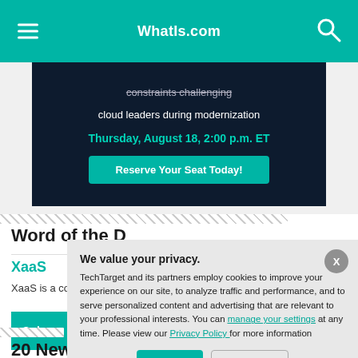WhatIs.com
[Figure (screenshot): Advertisement banner with dark navy background showing text about constraints challenging cloud leaders during modernization, with date Thursday August 18 2:00 p.m. ET and a Reserve Your Seat Today button]
Word of the D
XaaS
XaaS is a collective term referring to anything as a ser
Sub
20 Newest an
We value your privacy. TechTarget and its partners employ cookies to improve your experience on our site, to analyze traffic and performance, and to serve personalized content and advertising that are relevant to your professional interests. You can manage your settings at any time. Please view our Privacy Policy for more information